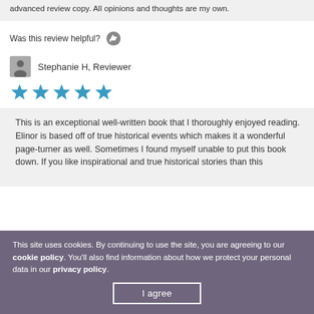advanced review copy. All opinions and thoughts are my own.
Was this review helpful?
Stephanie H, Reviewer
[Figure (other): Five filled teal/blue star rating icons indicating 5 out of 5 stars]
This is an exceptional well-written book that I thoroughly enjoyed reading. Elinor is based off of true historical events which makes it a wonderful page-turner as well. Sometimes I found myself unable to put this book down. If you like inspirational and true historical stories than this
This site uses cookies. By continuing to use the site, you are agreeing to our cookie policy. You'll also find information about how we protect your personal data in our privacy policy.
I agree